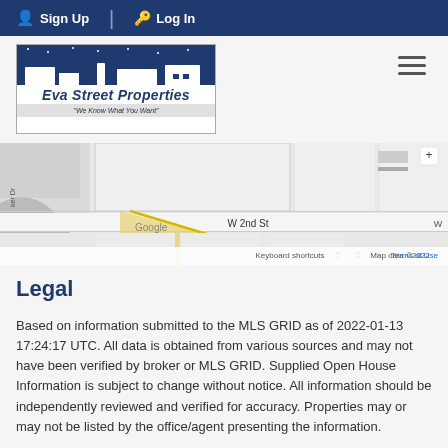Sign Up  Log In
[Figure (logo): Eva Street Properties logo with building silhouette and tagline 'We Know What You Want']
[Figure (map): Google Maps embed showing W 2nd St area with streets and blocks. Map data ©2022. Keyboard shortcuts, Terms of Use labels visible.]
Legal
Based on information submitted to the MLS GRID as of 2022-01-13 17:24:17 UTC. All data is obtained from various sources and may not have been verified by broker or MLS GRID. Supplied Open House Information is subject to change without notice. All information should be independently reviewed and verified for accuracy. Properties may or may not be listed by the office/agent presenting the information.